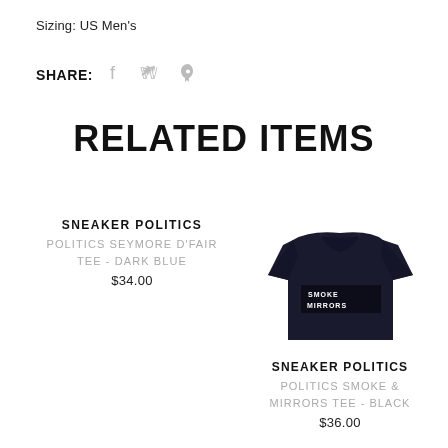Sizing: US Men's
SHARE:
RELATED ITEMS
SNEAKER POLITICS
POLITICS SEYMORE D'FAIR TEE - DARK BLUE
$34.00
[Figure (photo): Black t-shirt with white/dark text graphic on front - Politics Smoke & Mirrors Tee]
SNEAKER POLITICS
POLITICS SMOKE & MIRRORS TEE - BLACK
$36.00